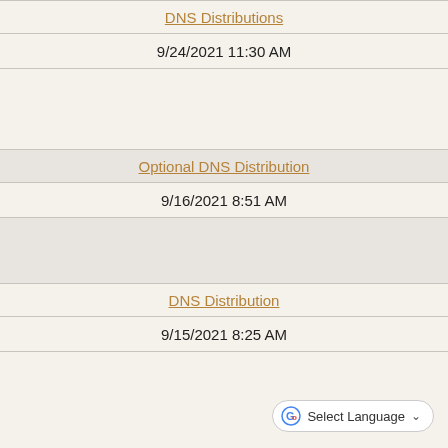DNS Distributions
9/24/2021 11:30 AM
Optional DNS Distribution
9/16/2021 8:51 AM
DNS Distribution
9/15/2021 8:25 AM